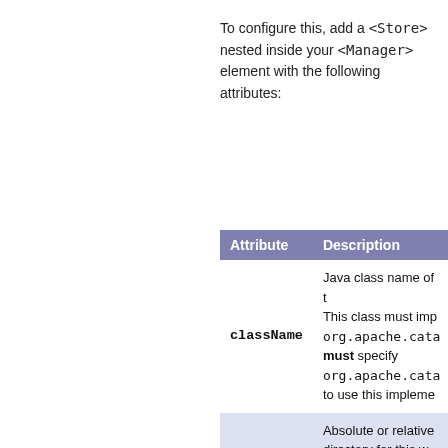To configure this, add a <Store> nested inside your <Manager> element with the following attributes:
| Attribute | Description |
| --- | --- |
| className | Java class name of the implementation to use. This class must implement the org.apache.cata... must specify org.apache.cata... to use this impleme... |
| directory | Absolute or relative directory for this we... of the directory into... files are written. If no... temporary work dir... container is utilized... |